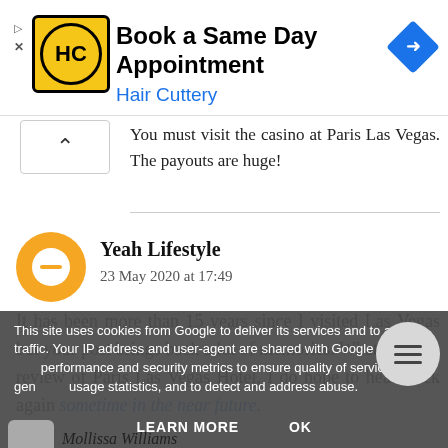[Figure (other): Hair Cuttery advertisement banner with logo, 'Book a Same Day Appointment' text, and navigation arrow icon]
You must visit the casino at Paris Las Vegas. The payouts are huge!
Yeah Lifestyle
23 May 2020 at 17:49

It has been more than 15 years since I visited Las Vegas but your post brings back a lot of memories. What a lovely review of Paris Las Vegas Hotel, I do hope to head back again sometime in the near future.
This site uses cookies from Google to deliver its services and to analyse traffic. Your IP address and user-agent are shared with Google along with performance and security metrics to ensure quality of service, generate usage statistics, and to detect and address abuse.
LEARN MORE    OK